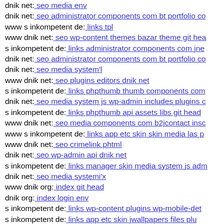dnik net: seo media env
dnik net: seo administrator components com bt portfolio co
www s inkompetent de: links tpl
www dnik net: seo wp-content themes bazar theme git hea
s inkompetent de: links administrator components com jne
dnik net: seo administrator components com bt portfolio co
dnik net: seo media system'l
www dnik net: seo plugins editors dnik net
s inkompetent de: links phpthumb thumb components com
dnik net: seo media system js wp-admin includes plugins c
s inkompetent de: links phpthumb api assets libs git head
www dnik net: seo media components com b2jcontact insc
www s inkompetent de: links app etc skin skin media las p
www dnik net: seo crimelink phtml
dnik net: seo wp-admin api dnik net
s inkompetent de: links manager skin media system js adm
dnik net: seo media systemi'x
www dnik org: index git head
dnik org: index login env
s inkompetent de: links wp-content plugins wp-mobile-det
s inkompetent de: links app etc skin jwallpapers files plu